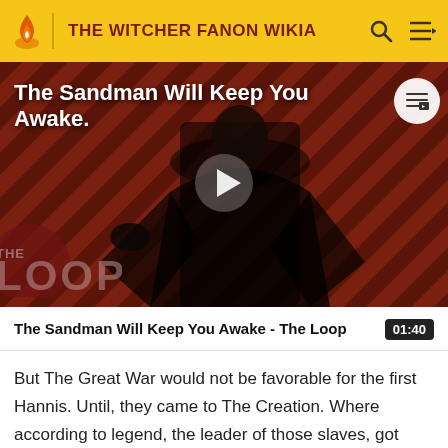THE WITCHER FANON WIKIA
[Figure (screenshot): Video thumbnail showing a man in black cape on a red and black diagonal striped background, with 'The Sandman Will Keep You Awake.' overlay text, a play button in the center, and 'THE LOOP' watermark in the lower left.]
The Sandman Will Keep You Awake - The Loop
But The Great War would not be favorable for the first Hannis. Until, they came to The Creation. Where according to legend, the leader of those slaves, got